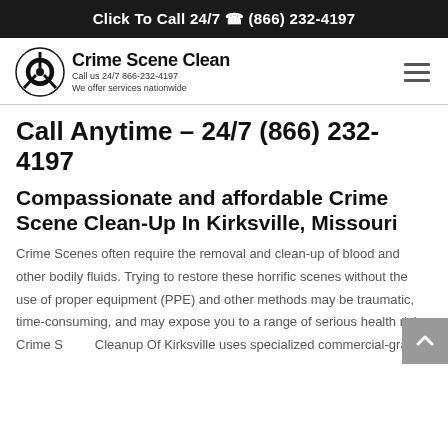Click To Call 24/7 (866) 232-4197
[Figure (logo): Crime Scene Clean logo with biohazard symbol. Text: Crime Scene Clean, Call us 24/7 866-232-4197, We offer services nationwide]
Call Anytime – 24/7 (866) 232-4197
Compassionate and affordable Crime Scene Clean-Up In Kirksville, Missouri
Crime Scenes often require the removal and clean-up of blood and other bodily fluids. Trying to restore these horrific scenes without the use of proper equipment (PPE) and other methods may be traumatic, time-consuming, and may expose you to a range of serious health risks. Crime Scene Cleanup Of Kirksville uses specialized commercial-grade